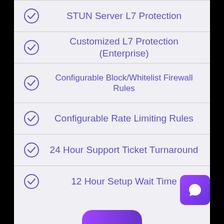STUN Server L7 Protection
Customized L7 Protection (Enterprise)
Configurable Block/Whitelist Firewall Rules
Configurable Rate Limiting Rules
24 Hour Support Ticket Turnaround
12 Hour Setup Wait Time